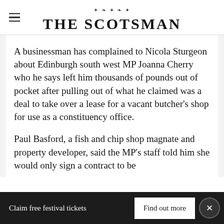THE SCOTSMAN
A businessman has complained to Nicola Sturgeon about Edinburgh south west MP Joanna Cherry who he says left him thousands of pounds out of pocket after pulling out of what he claimed was a deal to take over a lease for a vacant butcher's shop for use as a constituency office.
Paul Basford, a fish and chip shop magnate and property developer, said the MP's staff told him she would only sign a contract to be...
Claim free festival tickets   Find out more   ×